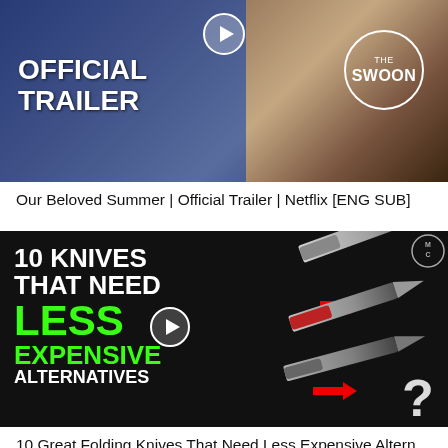[Figure (screenshot): YouTube video thumbnail for 'Our Beloved Summer | Official Trailer | Netflix [ENG SUB]'. Shows two people about to kiss, with 'OFFICIAL TRAILER' text in white on blue bar on the left, a play button at top center, and 'THE SWOON' logo in a circle on the right.]
Our Beloved Summer | Official Trailer | Netflix [ENG SUB]
[Figure (screenshot): YouTube video thumbnail for '10 Great Folding Knives That Need Less Expensive Alternatives'. Black background with folding knives shown, red arrows, a question mark, and text '10 KNIVES THAT NEED LESS EXPENSIVE ALTERNATIVES' in white and green.]
10 Great Folding Knives That Need Less Expensive Altern